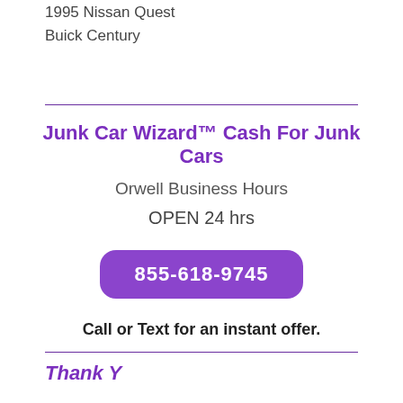1995 Nissan Quest
Buick Century
Junk Car Wizard™ Cash For Junk Cars
Orwell Business Hours
OPEN 24 hrs
855-618-9745
Call or Text for an instant offer.
Thank Y...